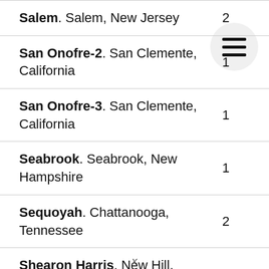| Plant | Units |
| --- | --- |
| Salem. Salem, New Jersey | 2 |
| San Onofre-2. San Clemente, California | 1 |
| San Onofre-3. San Clemente, California | 1 |
| Seabrook. Seabrook, New Hampshire | 1 |
| Sequoyah. Chattanooga, Tennessee | 2 |
| Shearon Harris. New Hill, North Carolina | 1 |